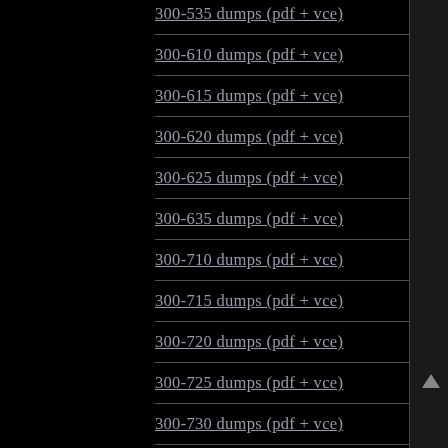300-535 dumps (pdf + vce)
300-610 dumps (pdf + vce)
300-615 dumps (pdf + vce)
300-620 dumps (pdf + vce)
300-625 dumps (pdf + vce)
300-635 dumps (pdf + vce)
300-710 dumps (pdf + vce)
300-715 dumps (pdf + vce)
300-720 dumps (pdf + vce)
300-725 dumps (pdf + vce)
300-730 dumps (pdf + vce)
300-735 dumps (pdf + vce)